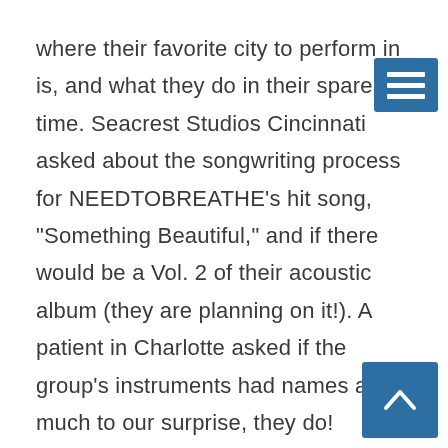where their favorite city to perform in is, and what they do in their spare time. Seacrest Studios Cincinnati asked about the songwriting process for NEEDTOBREATHE’s hit song, “Something Beautiful,” and if there would be a Vol. 2 of their acoustic album (they are planning on it!). A patient in Charlotte asked if the group’s instruments had names and, much to our surprise, they do!
[Figure (other): Hamburger menu icon button (three horizontal white lines on blue background), top-right corner]
[Figure (other): Back-to-top button (upward chevron/caret in white on blue background), bottom-right corner]